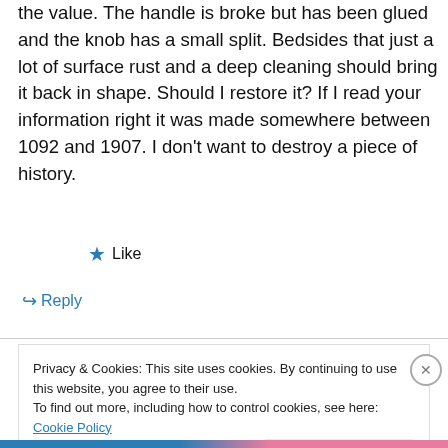the value. The handle is broke but has been glued and the knob has a small split. Bedsides that just a lot of surface rust and a deep cleaning should bring it back in shape. Should I restore it? If I read your information right it was made somewhere between 1092 and 1907. I don't want to destroy a piece of history.
★ Like
↪ Reply
Privacy & Cookies: This site uses cookies. By continuing to use this website, you agree to their use.
To find out more, including how to control cookies, see here: Cookie Policy
Close and accept